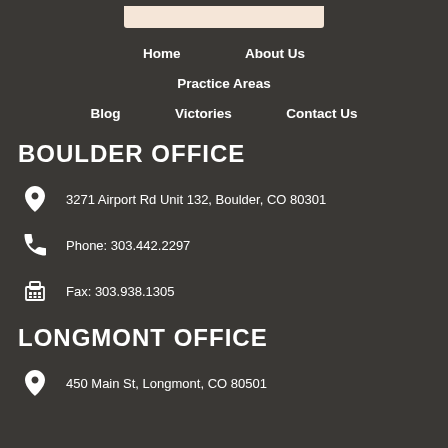[Figure (logo): Law firm logo box at top]
Home
About Us
Practice Areas
Blog
Victories
Contact Us
BOULDER OFFICE
3271 Airport Rd Unit 132, Boulder, CO 80301
Phone: 303.442.2297
Fax: 303.938.1305
LONGMONT OFFICE
450 Main St, Longmont, CO 80501